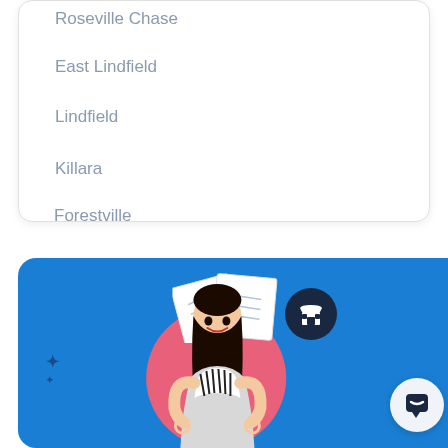Roseville Chase
East Lindfield
Lindfield
Killara
Forestville
[Figure (illustration): Blue banner with a smiling Asian woman making OK signs with both hands, holding papers/clipboard, with a pink circle behind her, a dark navy circle with a store/shop icon, decorative paper documents fanned out above, and a white chat bubble icon in the bottom right.]